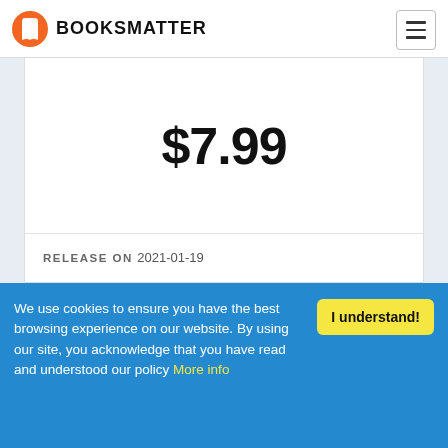BOOKSMATTER
$7.99
RELEASE ON   2021-01-19
We use cookies to ensure you have the best browsing experience on our website. By using our site, you acknowledge that you have read and understood our policy More info